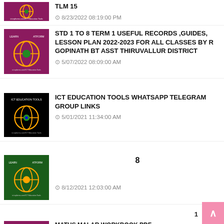TLM 15 — 8/23/2022 08:19:00 PM
STD 1 TO 8 TERM 1 USEFUL RECORDS ,GUIDES, LESSON PLAN 2022-2023 FOR ALL CLASSES BY R GOPINATH BT ASST THIRUVALLUR DISTRICT — 5/07/2022 08:09:00 AM
ICT EDUCATION TOOLS WHATSAPP TELEGRAM GROUP LINKS — 5/01/2021 11:34:00 AM
8 — 8/12/2021 12:03:00 AM
NO LESSON PLAN NO WORKDONE DIRECTOR PROCEEDINGS 23-08-2022 — 8/24/2022 06:25:00 AM
MATHS MALAR WORKBOOK PDF